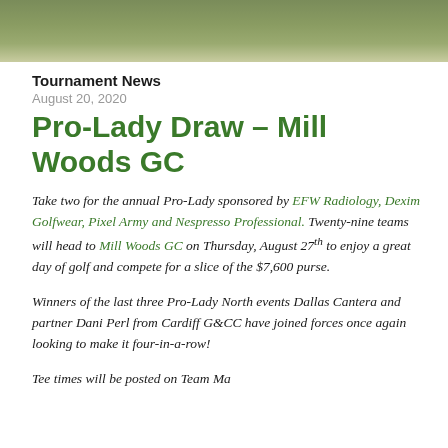[Figure (photo): Golf course green/fairway photo banner at top of page]
Tournament News
August 20, 2020
Pro-Lady Draw – Mill Woods GC
Take two for the annual Pro-Lady sponsored by EFW Radiology, Dexim Golfwear, Pixel Army and Nespresso Professional. Twenty-nine teams will head to Mill Woods GC on Thursday, August 27th to enjoy a great day of golf and compete for a slice of the $7,600 purse.
Winners of the last three Pro-Lady North events Dallas Cantera and partner Dani Perl from Cardiff G&CC have joined forces once again looking to make it four-in-a-row!
Tee times will be posted on Team Man...